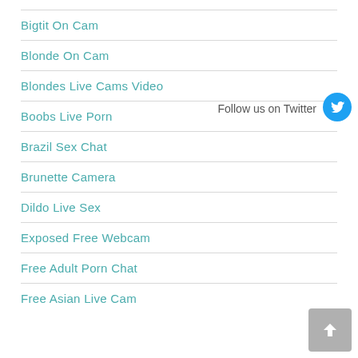Bigtit On Cam
Blonde On Cam
Blondes Live Cams Video
Boobs Live Porn
Brazil Sex Chat
Brunette Camera
Dildo Live Sex
Exposed Free Webcam
Free Adult Porn Chat
Free Asian Live Cam
[Figure (logo): Twitter bird logo in a blue circle]
Follow us on Twitter